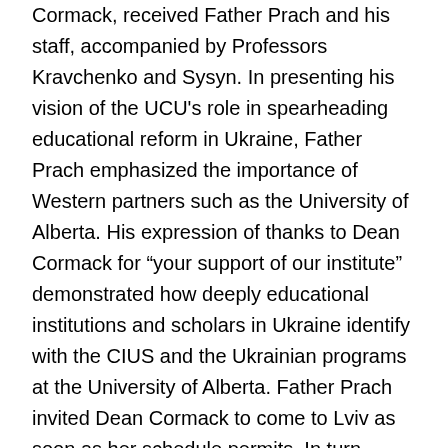Cormack, received Father Prach and his staff, accompanied by Professors Kravchenko and Sysyn. In presenting his vision of the UCU's role in spearheading educational reform in Ukraine, Father Prach emphasized the importance of Western partners such as the University of Alberta. His expression of thanks to Dean Cormack for “your support of our institute” demonstrated how deeply educational institutions and scholars in Ukraine identify with the CIUS and the Ukrainian programs at the University of Alberta. Father Prach invited Dean Cormack to come to Lviv as soon as her schedule permits. In turn, Dean Cormack reiterated the University of Alberta’s commitment to the CIUS and Ukrainian studies. She was especially pleased that the UCU would be looking to the University of Alberta as a destination for UCU graduates wishing to pursue masters’ and doctoral studies.
The successful visit of the rector of the UCU to the University of Alberta and Edmonton promises to strengthen existing tie...